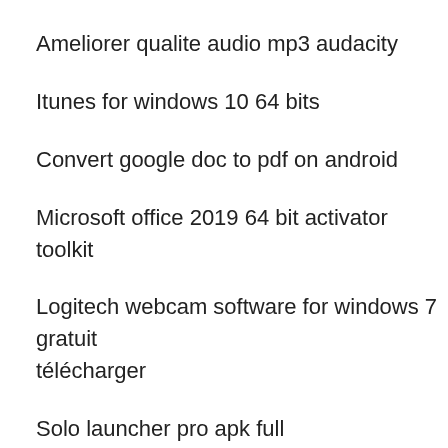Ameliorer qualite audio mp3 audacity
Itunes for windows 10 64 bits
Convert google doc to pdf on android
Microsoft office 2019 64 bit activator toolkit
Logitech webcam software for windows 7 gratuit télécharger
Solo launcher pro apk full
[Figure (screenshot): Orange search bar with text 'Search Here' and a search icon on the right]
Comment effacer les notification facebook
Comment telecharger illegalement sans se faire prendre
Dc universe online télécharger free
Ad aware pro security crack
Tv 3l pc android code activation
Nvidia geforce 210 driver win7 64 bit
Pro cycling manager 2019 pc fnac
Driver samsung galaxy s3 pc
Enregistrer windows 8 sur clé usb
Call of duty ww2 souvenir campagne